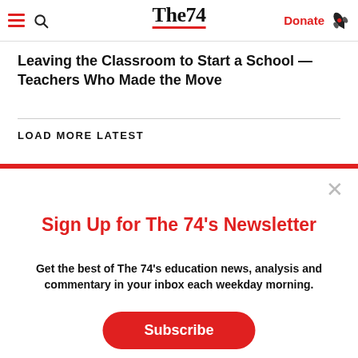The74 | Donate
Leaving the Classroom to Start a School — Teachers Who Made the Move
LOAD MORE LATEST
Sign Up for The 74's Newsletter
Get the best of The 74's education news, analysis and commentary in your inbox each weekday morning.
Subscribe